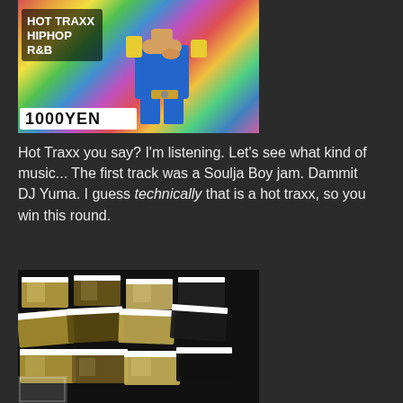[Figure (photo): Album cover or CD packaging for 'Hot Traxx Hip Hop R&B' by DJ Yuma, with colorful Lego-themed artwork and '1000YEN' price banner]
Hot Traxx you say? I'm listening. Let's see what kind of music... The first track was a Soulja Boy jam. Dammit DJ Yuma. I guess technically that is a hot traxx, so you win this round.
[Figure (photo): Close-up photo of multiple small perfume or cosmetic bottles/vials with amber/golden liquid, arranged in rows with white caps/bands]